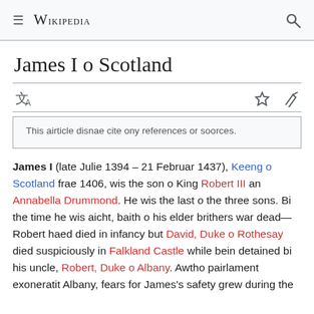≡ WIKIPEDIA 🔍
James I o Scotland
This airticle disnae cite ony references or soorces.
James I (late Julie 1394 – 21 Februar 1437), Keeng o Scotland frae 1406, wis the son o King Robert III an Annabella Drummond. He wis the last o the three sons. Bi the time he wis aicht, baith o his elder brithers war dead—Robert haed died in infancy but David, Duke o Rothesay died suspiciously in Falkland Castle while bein detained bi his uncle, Robert, Duke o Albany. Awtho pairlament exoneratit Albany, fears for James's safety grew during the